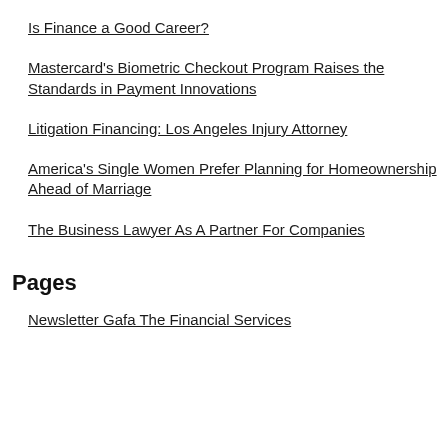Is Finance a Good Career?
Mastercard's Biometric Checkout Program Raises the Standards in Payment Innovations
Litigation Financing: Los Angeles Injury Attorney
America's Single Women Prefer Planning for Homeownership Ahead of Marriage
The Business Lawyer As A Partner For Companies
Pages
Newsletter Gafa The Financial Services